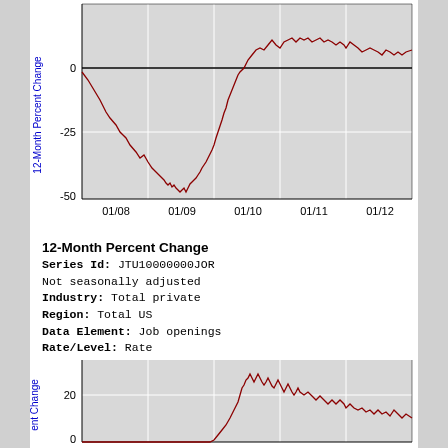[Figure (continuous-plot): 12-Month Percent Change line chart (top, partial). Y-axis: -50 to above 0. X-axis: 01/08 to 01/12. Dark red line showing sharp decline from 2008 to mid-2009 (reaching near -50), then recovery through 2010-2012 with oscillating values above 0.]
12-Month Percent Change
Series Id: JTU10000000JOR
Not seasonally adjusted
Industry: Total private
Region: Total US
Data Element: Job openings
Rate/Level: Rate
[Figure (continuous-plot): 12-Month Percent Change line chart (bottom, partial). Y-axis starts near 0 going up to above 20. X-axis partially visible. Dark red oscillating line rising from near 0 around 01/10, reaching peaks near 30, then oscillating.]